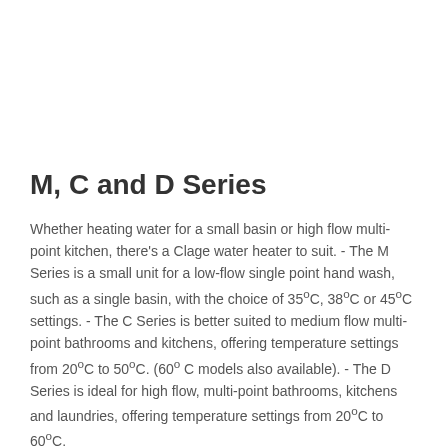M, C and D Series
Whether heating water for a small basin or high flow multi-point kitchen, there's a Clage water heater to suit. - The M Series is a small unit for a low-flow single point hand wash, such as a single basin, with the choice of 35ºC, 38ºC or 45ºC settings. - The C Series is better suited to medium flow multi-point bathrooms and kitchens, offering temperature settings from 20ºC to 50ºC. (60º C models also available). - The D Series is ideal for high flow, multi-point bathrooms, kitchens and laundries, offering temperature settings from 20ºC to 60ºC.